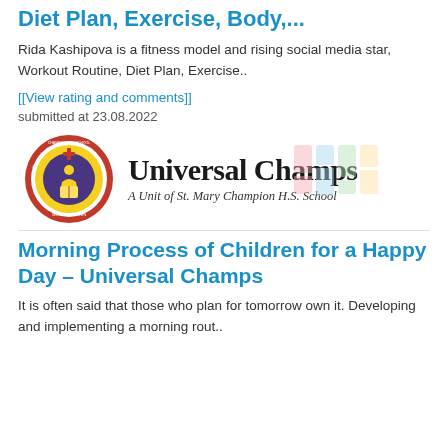Diet Plan, Exercise, Body,...
Rida Kashipova is a fitness model and rising social media star, Workout Routine, Diet Plan, Exercise..
[[View rating and comments]]
submitted at 23.08.2022
[Figure (logo): Universal Champs logo with St. Mary Champion H.S. School circular emblem and text 'Universal Champs - A Unit of St. Mary Champion H.S. School']
Morning Process of Children for a Happy Day – Universal Champs
It is often said that those who plan for tomorrow own it. Developing and implementing a morning rout..